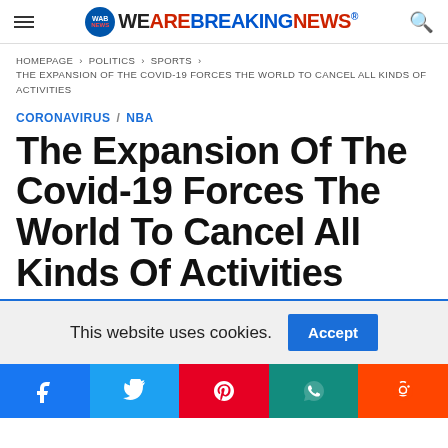WAB NEWS / WE ARE BREAKING NEWS®
HOMEPAGE > POLITICS > SPORTS > THE EXPANSION OF THE COVID-19 FORCES THE WORLD TO CANCEL ALL KINDS OF ACTIVITIES
CORONAVIRUS / NBA
The Expansion Of The Covid-19 Forces The World To Cancel All Kinds Of Activities
This website uses cookies. Accept